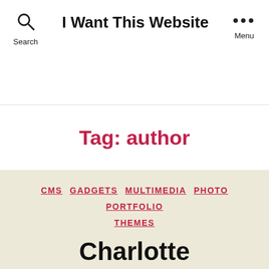I Want This Website
Tag: author
CMS GADGETS MULTIMEDIA PHOTO PORTFOLIO THEMES
Charlotte WordPress Theme
By IWTW · July 3, 2009 · No Comments